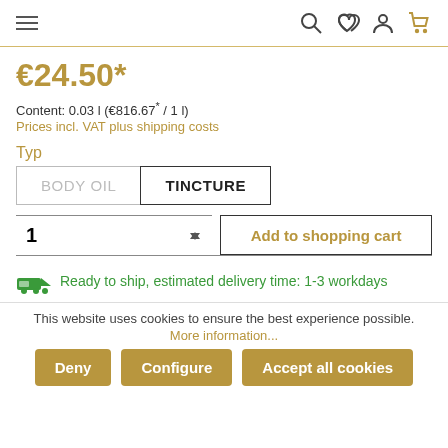Navigation header with menu, search, wishlist, account, cart icons
€24.50*
Content: 0.03 l (€816.67* / 1 l)
Prices incl. VAT plus shipping costs
Typ
BODY OIL  TINCTURE
1  Add to shopping cart
Ready to ship, estimated delivery time: 1-3 workdays
This website uses cookies to ensure the best experience possible.
More information...
Deny  Configure  Accept all cookies